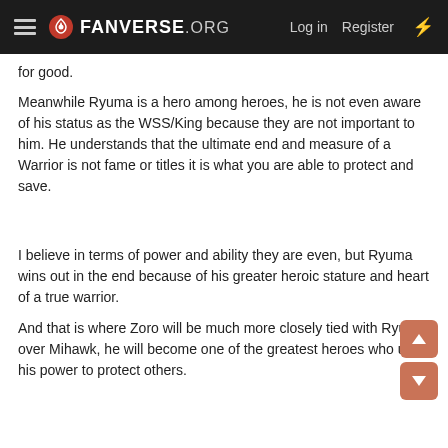FANVERSE.ORG  Log in  Register
for good.
Meanwhile Ryuma is a hero among heroes, he is not even aware of his status as the WSS/King because they are not important to him. He understands that the ultimate end and measure of a Warrior is not fame or titles it is what you are able to protect and save.
I believe in terms of power and ability they are even, but Ryuma wins out in the end because of his greater heroic stature and heart of a true warrior.
And that is where Zoro will be much more closely tied with Ryuma over Mihawk, he will become one of the greatest heroes who uses his power to protect others.